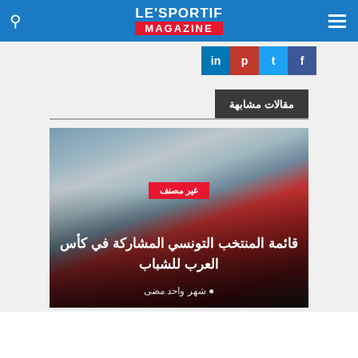LE'SPORTIF MAGAZINE
[Figure (screenshot): Social media sharing icons: LinkedIn, Pinterest, Twitter, Facebook]
مقالات مشابهة
[Figure (photo): Tunisian national youth football team celebrating on field, wearing red jerseys]
قائمة المنتخب التونسي المشاركة في كأس العرب للشباب
شهر واحد مضى